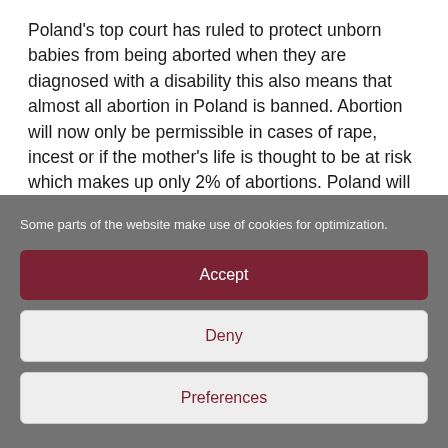Poland's top court has ruled to protect unborn babies from being aborted when they are diagnosed with a disability this also means that almost all abortion in Poland is banned. Abortion will now only be permissible in cases of rape, incest or if the mother's life is thought to be at risk which makes up only 2% of abortions. Poland will now be the country with the strictest abortion laws in Europe and recent polling results show 75% of Polish people think
Some parts of the website make use of cookies for optimization.
Accept
Deny
Preferences